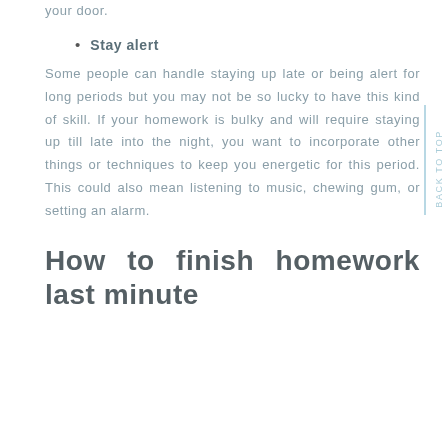your door.
Stay alert
Some people can handle staying up late or being alert for long periods but you may not be so lucky to have this kind of skill. If your homework is bulky and will require staying up till late into the night, you want to incorporate other things or techniques to keep you energetic for this period. This could also mean listening to music, chewing gum, or setting an alarm.
How to finish homework last minute